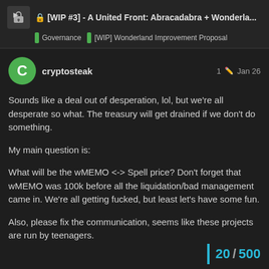[WIP #3] - A United Front: Abracadabra + Wonderla... | Governance | [WIP] Wonderland Improvement Proposal
cryptosteak · 1 · Jan 26
Sounds like a deal out of desperation, lol, but we're all desperate so what. The treasury will get drained if we don't do something.

My main question is:

What will be the wMEMO <-> Spell price? Don't forget that wMEMO was 100k before all the liquidation/bad management came in. We're all getting fucked, but least let's have some fun.

Also, please fix the communication, seems like these projects are run by teenagers.

Thank you
20 / 500